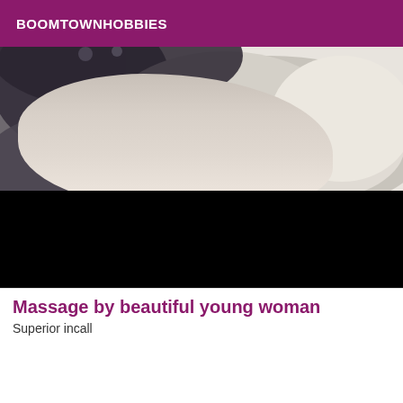BOOMTOWNHOBBIES
[Figure (photo): Grayscale photo of a person, partially obscured/redacted with a black rectangle covering the lower portion]
Massage by beautiful young woman
Superior incall